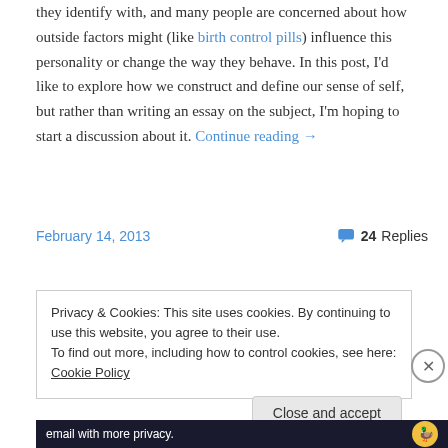they identify with, and many people are concerned about how outside factors might (like birth control pills) influence this personality or change the way they behave. In this post, I'd like to explore how we construct and define our sense of self, but rather than writing an essay on the subject, I'm hoping to start a discussion about it. Continue reading →
February 14, 2013    24 Replies
Privacy & Cookies: This site uses cookies. By continuing to use this website, you agree to their use. To find out more, including how to control cookies, see here: Cookie Policy
Close and accept
[Figure (other): Bottom banner with white text on dark background and duck logo, partially visible]